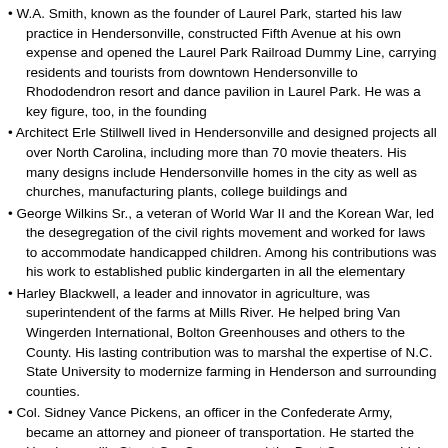W.A. Smith, known as the founder of Laurel Park, started his law practice in Hendersonville, constructed Fifth Avenue at his own expense and opened the Laurel Park Railroad Dummy Line, carrying residents and tourists from downtown Hendersonville to Rhododendron resort and dance pavilion in Laurel Park. He was a key figure, too, in the founding
Architect Erle Stillwell lived in Hendersonville and designed projects all over North Carolina, including more than 70 movie theaters. His many designs include Hendersonville homes in the city as well as churches, manufacturing plants, college buildings and
George Wilkins Sr., a veteran of World War II and the Korean War, led the desegregation of the civil rights movement and worked for laws to accommodate handicapped children. Among his contributions was his work to established public kindergarten in all the elementary
Harley Blackwell, a leader and innovator in agriculture, was superintendent of the farms at Mills River. He helped bring Van Wingerden International, Bolton Greenhouses and others to the County. His lasting contribution was to marshal the expertise of N.C. State University to modernize farming in Henderson and surrounding counties.
Col. Sidney Vance Pickens, an officer in the Confederate Army, became an attorney and pioneer of transportation. He started the Hendersonville Street Car Company and the Boat Company, which operated the Mountain Lily, carrying up to 100 passengers on the river. He organized the first Bar Association in North Carolina, in 1883, from which the st
Comments